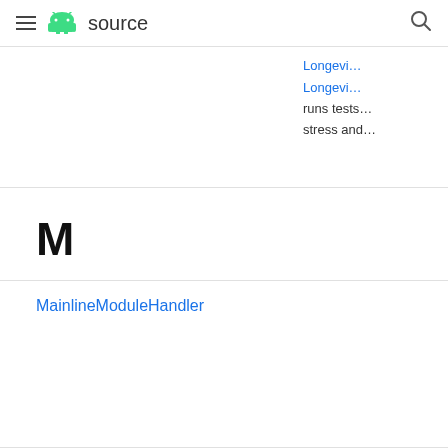≡ android source 🔍
Longevity
Longevity
runs tests
stress and
M
MainlineModuleHandler